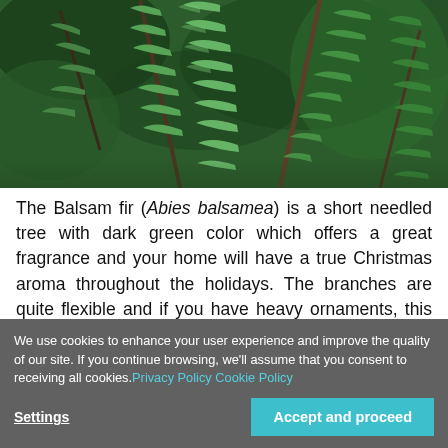[Figure (photo): Close-up photograph of balsam fir tree branches with dark green needles against a blurred green background.]
The Balsam fir (Abies balsamea) is a short needled tree with dark green color which offers a great fragrance and your home will have a true Christmas aroma throughout the holidays. The branches are quite flexible and if you have heavy ornaments, this may be a problem. The beautiful shape of the Balsam fir is its greatest advantage and if kept well...
We use cookies to enhance your user experience and improve the quality of our site. If you continue browsing, we'll assume that you consent to receiving all cookies. Privacy Policy  Cookie Policy
Settings
Accept and proceed